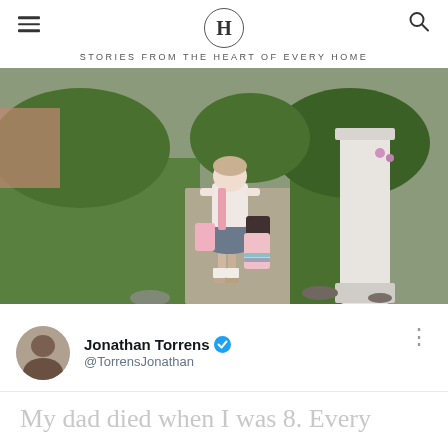H — STORIES FROM THE HEART OF EVERY HOME
[Figure (photo): A young girl in a school uniform (white polo shirt, grey skirt) standing on a garden path with a pink backpack and pink lunch bag, green grass and a white pillar visible]
Jonathan Torrens @TorrensJonathan
My dad died when I was 8. Every